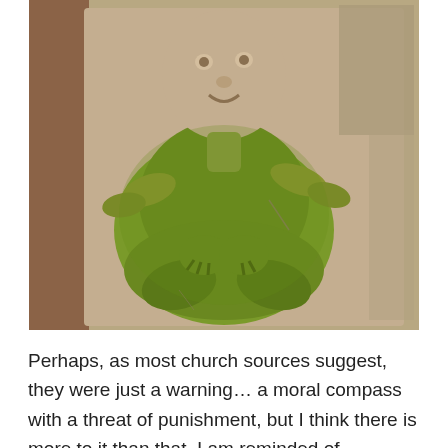[Figure (photo): A stone carving of a squatting humanoid figure with a large round head, short limbs, and moss-covered body, set against a rectangular stone background. The figure is covered in bright green moss and appears to be a medieval architectural sculpture.]
Perhaps, as most church sources suggest, they were just a warning… a moral compass with a threat of punishment, but I think there is more to it than that. I am reminded of